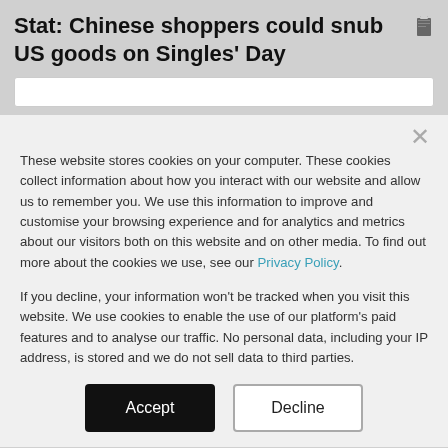Stat: Chinese shoppers could snub US goods on Singles' Day
These website stores cookies on your computer. These cookies collect information about how you interact with our website and allow us to remember you. We use this information to improve and customise your browsing experience and for analytics and metrics about our visitors both on this website and on other media. To find out more about the cookies we use, see our Privacy Policy.
If you decline, your information won't be tracked when you visit this website. We use cookies to enable the use of our platform's paid features and to analyse our traffic. No personal data, including your IP address, is stored and we do not sell data to third parties.